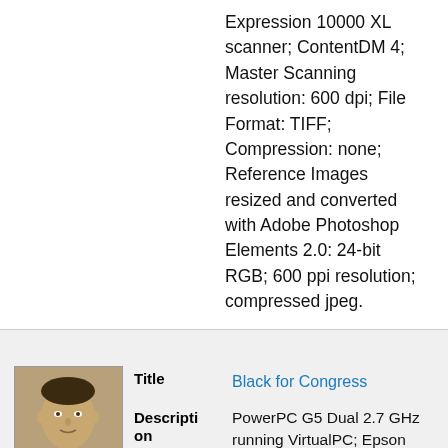Expression 10000 XL scanner; ContentDM 4; Master Scanning resolution: 600 dpi; File Format: TIFF; Compression: none; Reference Images resized and converted with Adobe Photoshop Elements 2.0: 24-bit RGB; 600 ppi resolution; compressed jpeg.
|  | Title | Black for Congress |
| --- | --- | --- |
| [image] | Description | PowerPC G5 Dual 2.7 GHz running VirtualPC; Epson Expression 10000 XL scanner; ContentDM 4; Master Scanning resolution: 600 dpi; File Format: TIFF; |